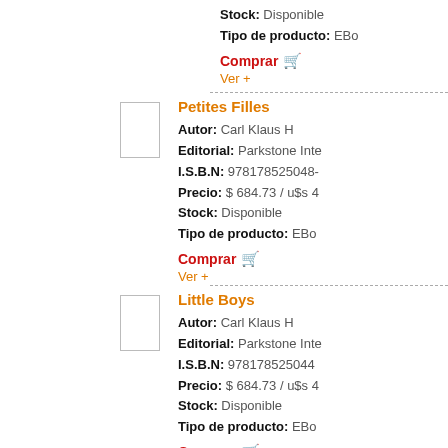Stock: Disponible
Tipo de producto: EBo...
Comprar
Ver +
Petites Filles
Autor: Carl Klaus H
Editorial: Parkstone Inte...
I.S.B.N: 978178525048...
Precio: $ 684.73 / u$s 4...
Stock: Disponible
Tipo de producto: EBo...
Comprar
Ver +
Little Boys
Autor: Carl Klaus H
Editorial: Parkstone Inte...
I.S.B.N: 978178525044...
Precio: $ 684.73 / u$s 4...
Stock: Disponible
Tipo de producto: EBo...
Comprar
Ver +